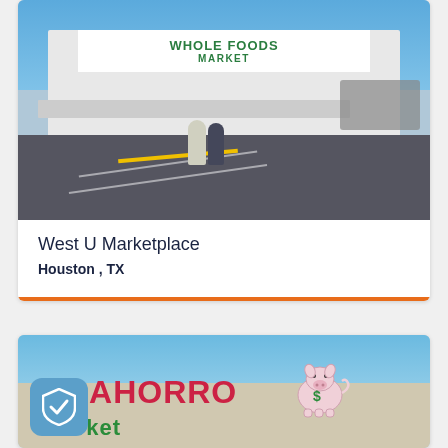[Figure (photo): Exterior photo of a Whole Foods Market store with two people walking toward the entrance across a parking lot, blue sky visible]
West U Marketplace
Houston , TX
[Figure (photo): Exterior photo of an El Ahorro Market store with colorful signage showing a pig mascot with a dollar sign]